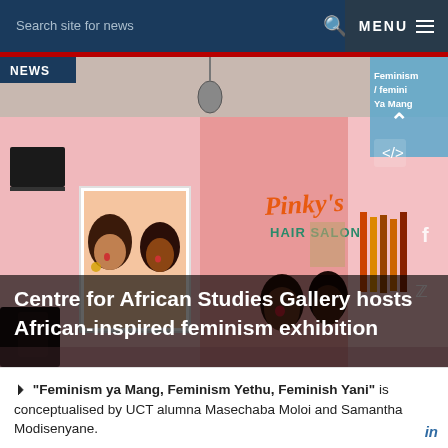Search site for news   Q  MENU
[Figure (photo): Interior of the Centre for African Studies Gallery with pink walls, artwork including a poster reading 'Pinky's Hair Salon' with illustrated faces, and textile works on the right wall. A 'NEWS' badge overlays the top-left corner.]
Centre for African Studies Gallery hosts African-inspired feminism exhibition
◄︎ “Feminism ya Mang, Feminism Yethu, Feminish Yani” is conceptualised by UCT alumna Masechaba Moloi and Samantha Modisenyane.